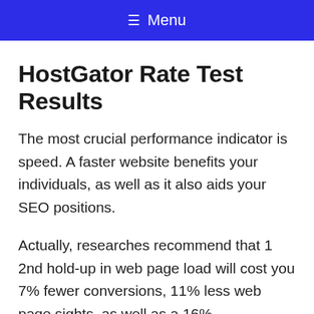≡ Menu
HostGator Rate Test Results
The most crucial performance indicator is speed. A faster website benefits your individuals, as well as it also aids your SEO positions.
Actually, researches recommend that 1 2nd hold-up in web page load will cost you 7% fewer conversions, 11% less web page sights, as well as a 16%